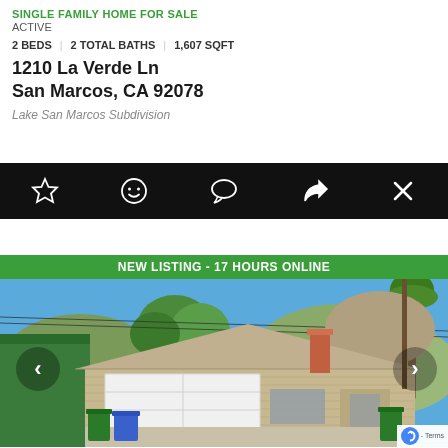SINGLE FAMILY HOME FOR SALE
ACTIVE
2 BEDS | 2 TOTAL BATHS | 1,607 SQFT
1210 La Verde Ln
San Marcos, CA 92078
Lake San Marcos Subdivision
[Figure (screenshot): Black action bar with icons: star (favorite), smiley face, speech bubble (comment), share arrow, and X (close)]
[Figure (photo): Exterior photo of a single-family home at 1210 La Verde Ln, San Marcos CA. Ranch-style house with beige siding, white two-car garage door, brick chimney, set against a blue sky with hills and trees in the background. Green trash bin and blue recycling bin visible in driveway. Palm tree on right side. Green shed visible on left. Navigation arrows on left and right sides of image.]
NEW LISTING - 17 HOURS ONLINE